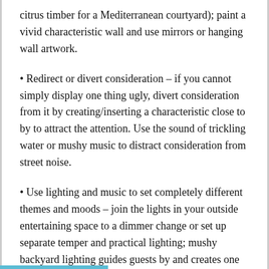citrus timber for a Mediterranean courtyard); paint a vivid characteristic wall and use mirrors or hanging wall artwork.
• Redirect or divert consideration – if you cannot simply display one thing ugly, divert consideration from it by creating/inserting a characteristic close to by to attract the attention. Use the sound of trickling water or mushy music to distract consideration from street noise.
• Use lighting and music to set completely different themes and moods – join the lights in your outside entertaining space to a dimmer change or set up separate temper and practical lighting; mushy backyard lighting guides guests by and creates one other dimension in your backyard; delicate speaker placement means music may be loved from anyplace within the backyard (a lot better